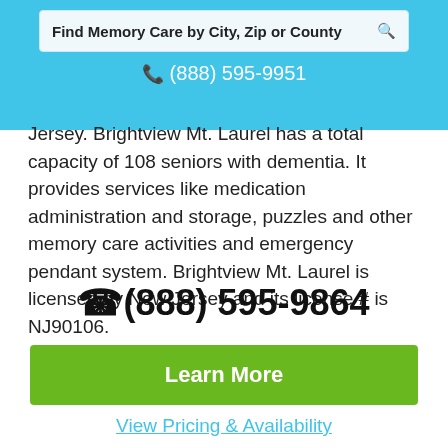Find Memory Care by City, Zip or County | (888) 595-9951
Jersey. Brightview Mt. Laurel has a total capacity of 108 seniors with dementia. It provides services like medication administration and storage, puzzles and other memory care activities and emergency pendant system. Brightview Mt. Laurel is licensed by New Jersey and its license # is NJ90106.
(888) 595-9864
Learn More
View Pricing & Availability